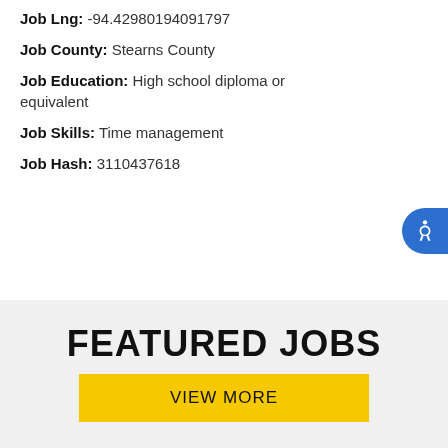Job Lng: -94.42980194091797
Job County: Stearns County
Job Education: High school diploma or equivalent
Job Skills: Time management
Job Hash: 3110437618
FEATURED JOBS
VIEW MORE